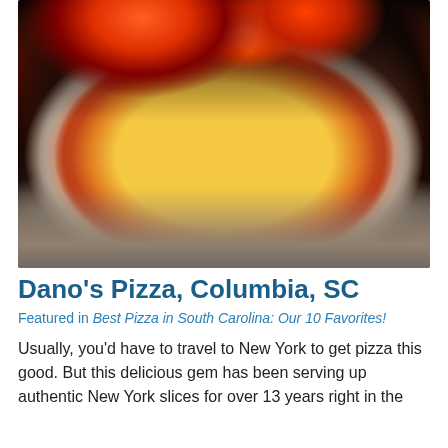[Figure (photo): A cheese and tomato pizza on a dark pan being cooked in a wood-fired oven. The oven glows with red and orange flames in the upper background. The pizza has a golden-brown crust with melted mozzarella and tomato sauce visible.]
Dano's Pizza, Columbia, SC
Featured in Best Pizza in South Carolina: Our 10 Favorites!
Usually, you'd have to travel to New York to get pizza this good. But this delicious gem has been serving up authentic New York slices for over 13 years right in the